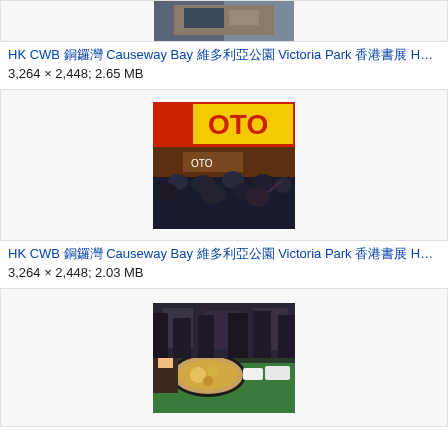[Figure (photo): Partial view of a photo at top of page (cropped)]
HK CWB 銅鑼灣 Causeway Bay 維多利亞公園 Victoria Park 香港書展 HKB…
3,264 × 2,448; 2.65 MB
[Figure (photo): Photo of a street scene with OTO store sign and crowd of people in dark clothing]
HK CWB 銅鑼灣 Causeway Bay 維多利亞公園 Victoria Park 香港書展 HKB…
3,264 × 2,448; 2.03 MB
[Figure (photo): Photo of food stall with large cooking pan and people in dark clothing browsing stalls]